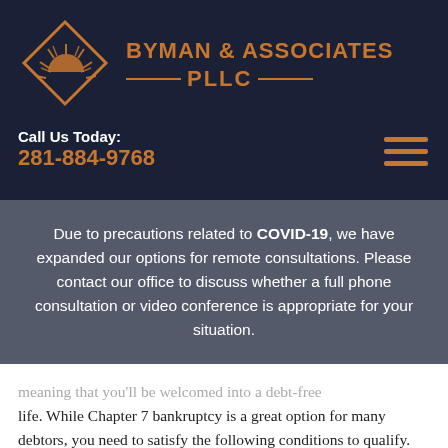[Figure (logo): Byman & Associates PLLC logo with diamond-shaped sun icon and firm name in orange on dark navy background]
Call Us Today:
281-884-9768
Due to precautions related to COVID-19, we have expanded our options for remote consultations. Please contact our office to discuss whether a full phone consultation or video conference is appropriate for your situation.
meaning that you'll be welcomed into a debt-free life. While Chapter 7 bankruptcy is a great option for many debtors, you need to satisfy the following conditions to qualify.